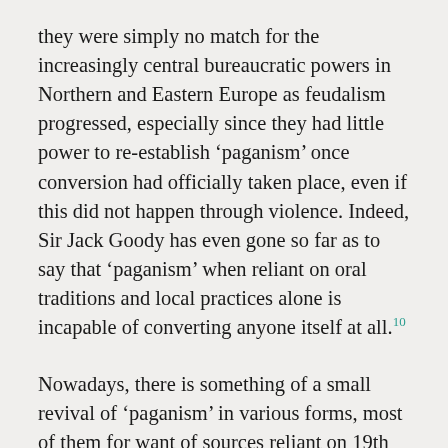they were simply no match for the increasingly central bureaucratic powers in Northern and Eastern Europe as feudalism progressed, especially since they had little power to re-establish 'paganism' once conversion had officially taken place, even if this did not happen through violence. Indeed, Sir Jack Goody has even gone so far as to say that 'paganism' when reliant on oral traditions and local practices alone is incapable of converting anyone itself at all.10
Nowadays, there is something of a small revival of 'paganism' in various forms, most of them for want of sources reliant on 19th and 20th Century inventions of tradition and various syntheses of practices from widely differing places and periods. In terms of its appeal to the old paganism, it has